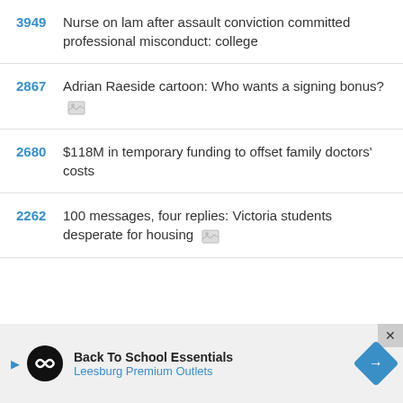3949 Nurse on lam after assault conviction committed professional misconduct: college
2867 Adrian Raeside cartoon: Who wants a signing bonus? [image]
2680 $118M in temporary funding to offset family doctors' costs
2262 100 messages, four replies: Victoria students desperate for housing [image]
[Figure (other): Advertisement banner: Back To School Essentials - Leesburg Premium Outlets with logo and navigation arrow]